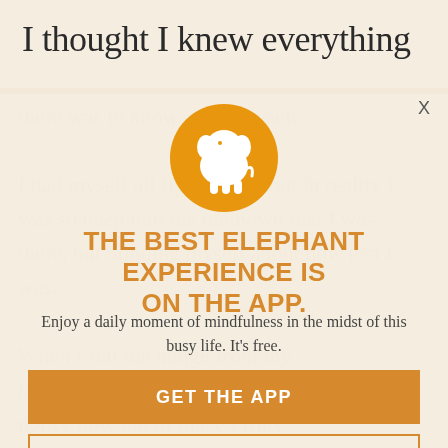I thought I knew everything
there was to know about myself.
I had myself all figured out, but in reality I was so deep into the unknown that I was there, but blinding myself about how lost I was.
When I felt the nudge from my lawyer on the side to look inward and notice how out of place I truly was.
[Figure (logo): White elephant silhouette on an orange/gold circular background — Elephant app logo]
THE BEST ELEPHANT EXPERIENCE IS ON THE APP.
Enjoy a daily moment of mindfulness in the midst of this busy life. It's free.
GET THE APP
OPEN IN APP